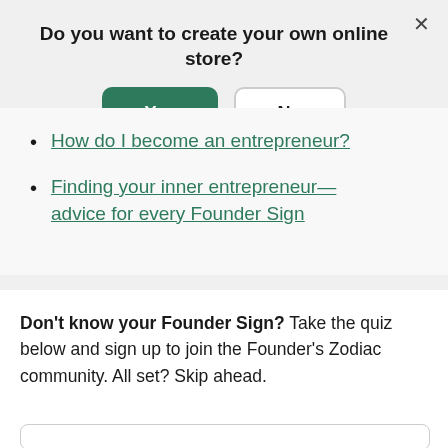Do you want to create your own online store?
[Figure (screenshot): Yes and No buttons for a dialog modal. Yes button is teal/green filled, No button is white with border.]
How do I become an entrepreneur?
Finding your inner entrepreneur—advice for every Founder Sign
Don't know your Founder Sign? Take the quiz below and sign up to join the Founder's Zodiac community. All set? Skip ahead.